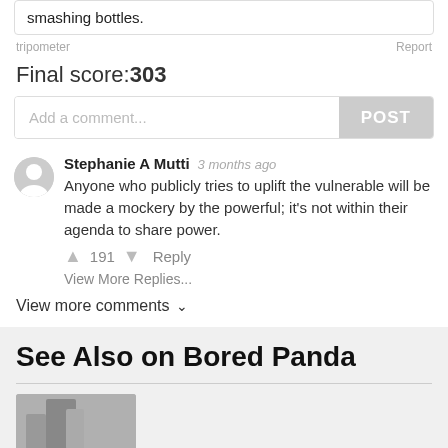smashing bottles.
tripometer   Report
Final score:303
Add a comment...   POST
Stephanie A Mutti   3 months ago
Anyone who publicly tries to uplift the vulnerable will be made a mockery by the powerful; it's not within their agenda to share power.
↑ 191 ↓   Reply
View More Replies...
View more comments ∨
See Also on Bored Panda